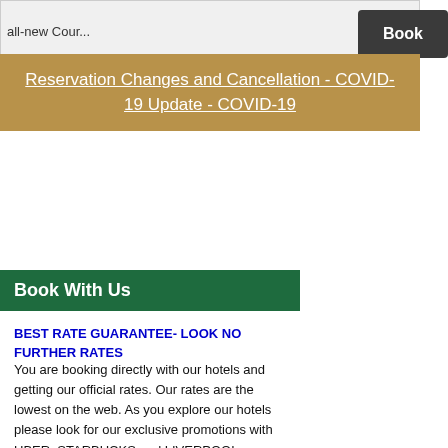all-new Cour...
Reservation Changes and Cancellation - COVID-19 Update - COVID-19
Book With Us
BEST RATE GUARANTEE- LOOK NO FURTHER RATES
You are booking directly with our hotels and getting our official rates. Our rates are the lowest on the web. As you explore our hotels please look for our exclusive promotions with UBER, STARBUCKS and LIVERPOOL.